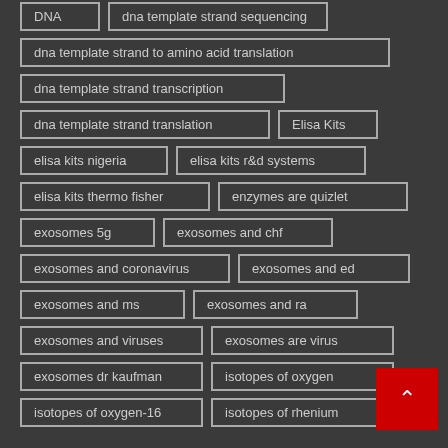DNA
dna template strand sequencing
dna template strand to amino acid translation
dna template strand transcription
dna template strand translation
Elisa Kits
elisa kits nigeria
elisa kits r&d systems
elisa kits thermo fisher
enzymes are quizlet
exosomes 5g
exosomes and chf
exosomes and coronavirus
exosomes and ed
exosomes and ms
exosomes and ra
exosomes and viruses
exosomes are virus
exosomes dr kaufman
isotopes of oxygen
isotopes of oxygen-16
isotopes of rhenium